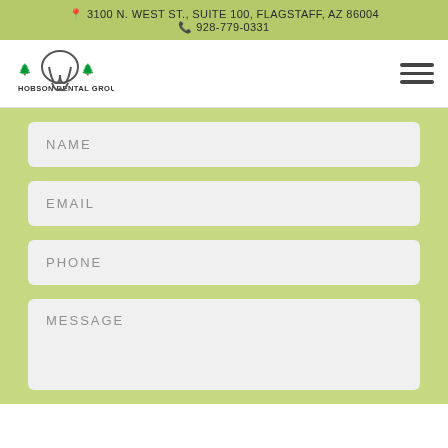📍 3100 N. WEST ST., SUITE 100, FLAGSTAFF, AZ 86004
📞 928-779-0331
[Figure (logo): Hobson Dental Group logo with tooth and tree imagery]
NAME
EMAIL
PHONE
MESSAGE